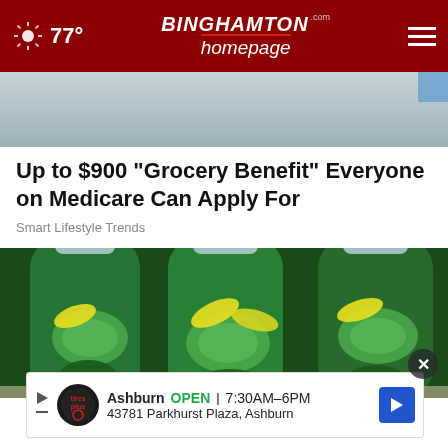BINGHAMTON homepage.com — 77°
[Figure (photo): Partial image of kitchen/appliance in gray tones, cropped at top]
Up to $900 "Grocery Benefit" Everyone on Medicare Can Apply For
Smart Lifestyle Trends
[Figure (photo): Three large plastic water bottles filled with green infused water containing cucumber slices, lemon wedges, and dark green mint leaves]
Ashburn  OPEN  7:30AM–6PM  43781 Parkhurst Plaza, Ashburn